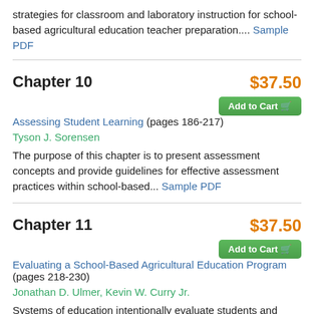strategies for classroom and laboratory instruction for school-based agricultural education teacher preparation.... Sample PDF
Chapter 10
Assessing Student Learning (pages 186-217)
Tyson J. Sorensen
The purpose of this chapter is to present assessment concepts and provide guidelines for effective assessment practices within school-based... Sample PDF
$37.50
Add to Cart
Chapter 11
Evaluating a School-Based Agricultural Education Program (pages 218-230)
Jonathan D. Ulmer, Kevin W. Curry Jr.
Systems of education intentionally evaluate students and teachers in the teaching and learning process. For many of the same reasons, the case can... Sample PDF
$37.50
Add to Cart